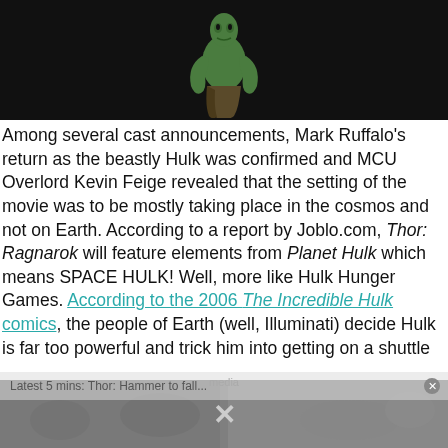[Figure (photo): Hulk figure in fighting stance against black background]
Among several cast announcements, Mark Ruffalo's return as the beastly Hulk was confirmed and MCU Overlord Kevin Feige revealed that the setting of the movie was to be mostly taking place in the cosmos and not on Earth. According to a report by Joblo.com, Thor: Ragnarok will feature elements from Planet Hulk which means SPACE HULK! Well, more like Hulk Hunger Games. According to the 2006 The Incredible Hulk comics, the people of Earth (well, Illuminati) decide Hulk is far too powerful and trick him into getting on a shuttle
[Figure (photo): Partially visible bottom banner image with X close button, showing blurred crowd/people photo]